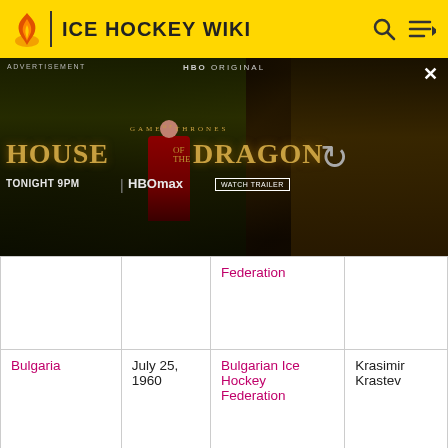ICE HOCKEY WIKI
[Figure (screenshot): HBO Original advertisement for House of the Dragon — Game of Thrones spinoff. Shows dramatic dark fantasy imagery with a figure in red robes and text 'HOUSE OF THE DRAGON TONIGHT 9PM | HBO max | WATCH TRAILER'. Has ADVERTISEMENT label at top left and a close (X) button at top right.]
|  |  | Federation |  |
| Bulgaria | July 25, 1960 | Bulgarian Ice Hockey Federation | Krasimir Krastev |